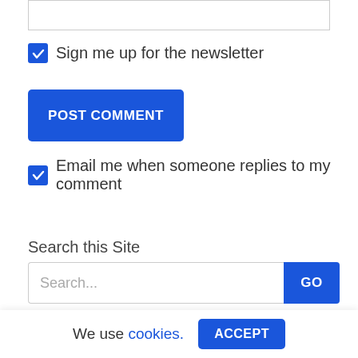Sign me up for the newsletter
POST COMMENT
Email me when someone replies to my comment
Search this Site
Search...
Articles
We use cookies. ACCEPT